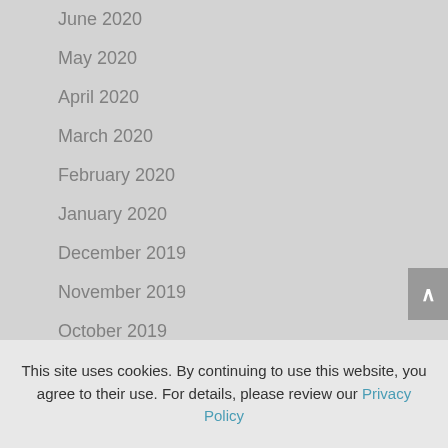June 2020
May 2020
April 2020
March 2020
February 2020
January 2020
December 2019
November 2019
October 2019
September 2019
August 2019
July 2019
This site uses cookies. By continuing to use this website, you agree to their use. For details, please review our Privacy Policy